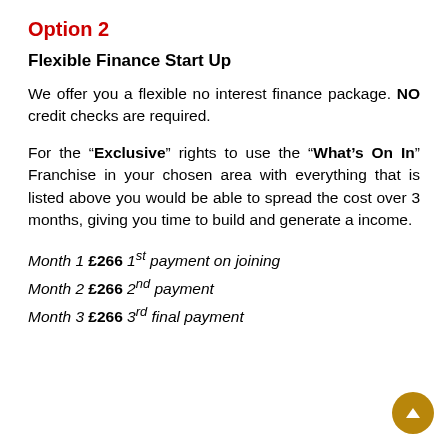Option 2
Flexible Finance Start Up
We offer you a flexible no interest finance package. NO credit checks are required.
For the “Exclusive” rights to use the “What’s On In” Franchise in your chosen area with everything that is listed above you would be able to spread the cost over 3 months, giving you time to build and generate a income.
Month 1 £266 1st payment on joining
Month 2 £266 2nd payment
Month 3 £266 3rd final payment